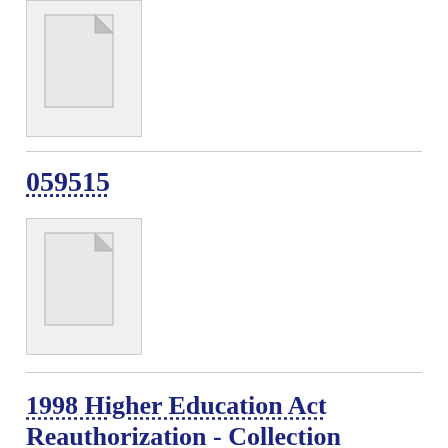[Figure (illustration): Generic document/file icon - grey page with folded corner, on light grey background with border]
059515
[Figure (illustration): Generic document/file icon - grey page with folded corner, on light grey background with border]
1998 Higher Education Act Reauthorization - Collection